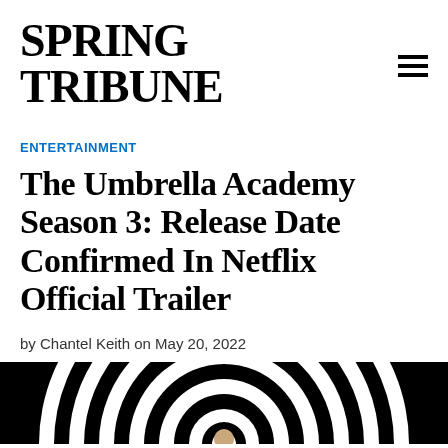SPRING TRIBUNE
ENTERTAINMENT
The Umbrella Academy Season 3: Release Date Confirmed In Netflix Official Trailer
by Chantel Keith on May 20, 2022
[Figure (photo): Black and white spiral/optical illusion background with a person visible in the center, used as hero image for the article]